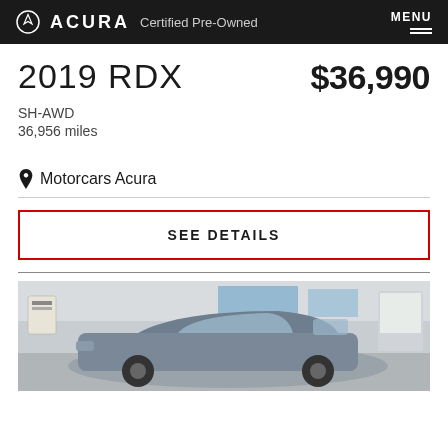ACURA Certified Pre-Owned | MENU
2019 RDX  $36,990
SH-AWD
36,956 miles
Motorcars Acura
SEE DETAILS
[Figure (photo): A gray 2019 Acura RDX SUV parked inside a dealership showroom with large windows in the background.]